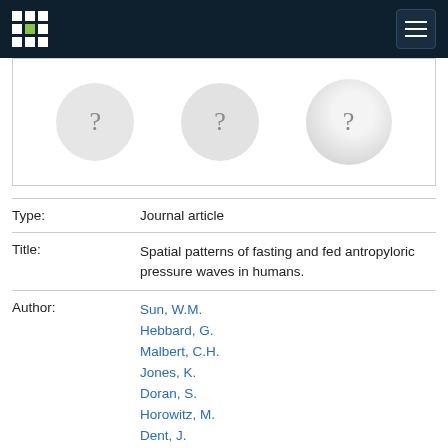[Figure (other): Navigation bar with grid logo and hamburger menu on dark blue background]
[Figure (other): Three placeholder circles with question marks representing images or figures]
| Type: | Journal article |
| Title: | Spatial patterns of fasting and fed antropyloric pressure waves in humans. |
| Author: | Sun, W.M.
Hebbard, G.
Malbert, C.H.
Jones, K.
Doran, S.
Horowitz, M.
Dent, J. |
| Citation: | The Journal of Physiology, 1997; 503(Part 2):455-462 |